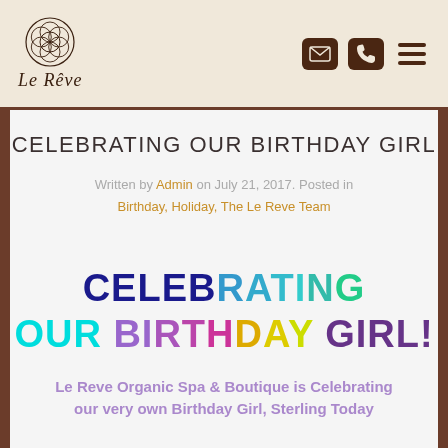Le Reve
CELEBRATING OUR BIRTHDAY GIRL
Written by Admin on July 21, 2017. Posted in Birthday, Holiday, The Le Reve Team
CELEBRATING OUR BIRTHDAY GIRL!
Le Reve Organic Spa & Boutique is Celebrating our very own Birthday Girl, Sterling Today